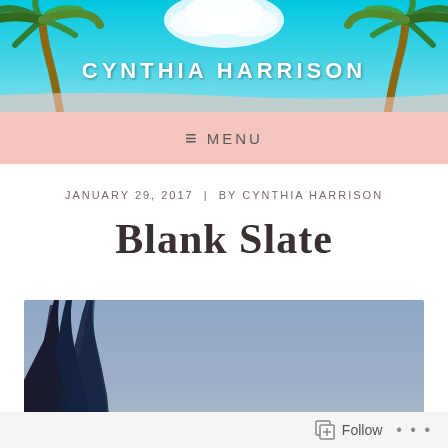[Figure (illustration): Website header banner with tropical palm trees and turquoise sky background, with the text CYNTHIA HARRISON centered in white bold uppercase letters]
≡  MENU
JANUARY 29, 2017  |  BY CYNTHIA HARRISON
Blank Slate
[Figure (photo): Outdoor photograph showing dark pine trees silhouetted against a blue-grey sky]
Follow  ...